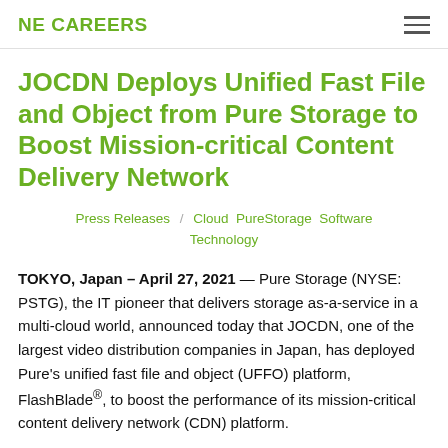NE CAREERS
JOCDN Deploys Unified Fast File and Object from Pure Storage to Boost Mission-critical Content Delivery Network
Press Releases / Cloud PureStorage Software Technology
TOKYO, Japan – April 27, 2021 — Pure Storage (NYSE: PSTG), the IT pioneer that delivers storage as-a-service in a multi-cloud world, announced today that JOCDN, one of the largest video distribution companies in Japan, has deployed Pure's unified fast file and object (UFFO) platform, FlashBlade®, to boost the performance of its mission-critical content delivery network (CDN) platform.